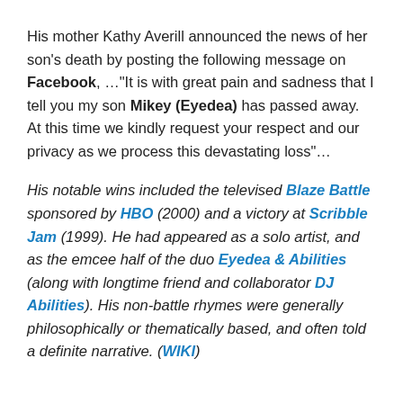His mother Kathy Averill announced the news of her son's death by posting the following message on Facebook, …"It is with great pain and sadness that I tell you my son Mikey (Eyedea) has passed away. At this time we kindly request your respect and our privacy as we process this devastating loss"…
His notable wins included the televised Blaze Battle sponsored by HBO (2000) and a victory at Scribble Jam (1999). He had appeared as a solo artist, and as the emcee half of the duo Eyedea & Abilities (along with longtime friend and collaborator DJ Abilities). His non-battle rhymes were generally philosophically or thematically based, and often told a definite narrative. (WIKI)